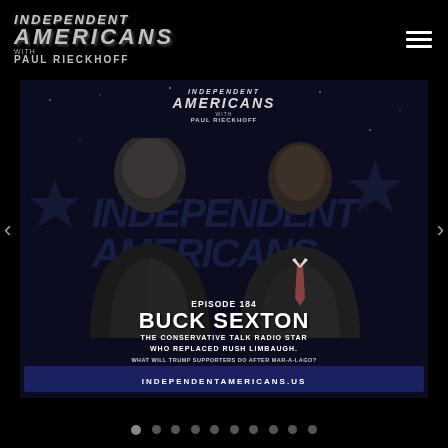INDEPENDENT AMERICANS with PAUL RIECKHOFF
[Figure (screenshot): Podcast episode card for Independent Americans with Paul Rieckhoff, Episode 184 featuring Buck Sexton. Two men visible against a dark blue star-spangled background. Text overlay includes episode info and bullet questions. URL bar at bottom shows independentamericans.us]
EPISODE 184
BUCK SEXTON
THE CONSERVATIVE TALK RADIO STAR WHO REPLACED RUSH LIMBAUGH.
WHAT WILL TRUMP SUPPORTERS DO AFTER MAR-A-LAGO?
HOW SERIOUS IS THE THREAT OF VIOLENCE?
WHEN WILL TRUMP ANNOUNCE HE'S RUNNING?
CAN THE GOP ATTRACT ANY INDEPENDENTS IN 2022?
INDEPENDENTAMERICANS.US